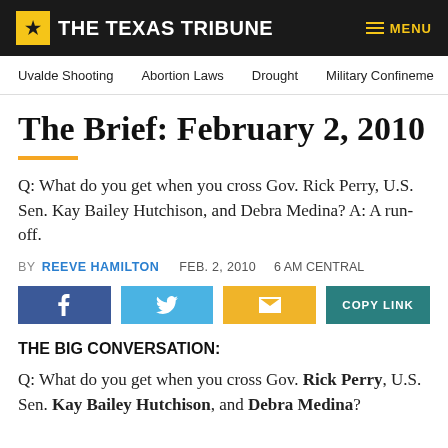THE TEXAS TRIBUNE | MENU
Uvalde Shooting  Abortion Laws  Drought  Military Confinement
The Brief: February 2, 2010
Q: What do you get when you cross Gov. Rick Perry, U.S. Sen. Kay Bailey Hutchison, and Debra Medina? A: A run-off.
BY REEVE HAMILTON   FEB. 2, 2010   6 AM CENTRAL
[Figure (infographic): Social sharing buttons: Facebook (blue), Twitter (light blue), Email (yellow), Copy Link (teal)]
THE BIG CONVERSATION:
Q: What do you get when you cross Gov. Rick Perry, U.S. Sen. Kay Bailey Hutchison, and Debra Medina?